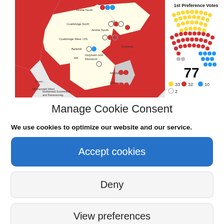[Figure (map): Electoral map showing Scottish council wards (North Lanarkshire area) with colored regions (red, yellow/cream) and bubble markers in red, blue, white/yellow indicating seats won. Right side shows a hemicycle/parliament diagram with dots in yellow (33), red (32), blue (10), grey (2) totaling 77 seats. Title: '1st Preference Votes', subtitle: 'Seats Won'. Legend text: 'Wards coloured according to party that won the most first preference votes. Seat bubbles are in order of election.' Ballot Box Scotland, ballotboxscotland.com]
Manage Cookie Consent
We use cookies to optimize our website and our service.
Accept cookies
Deny
View preferences